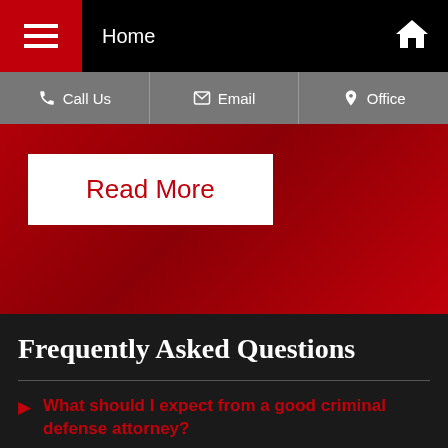Home
Call Us | Email | Office
[Figure (screenshot): Red hero banner with 'Read More' white button]
Frequently Asked Questions
What should I expect from a good criminal defense attorney?
What happens after a person is arrested?